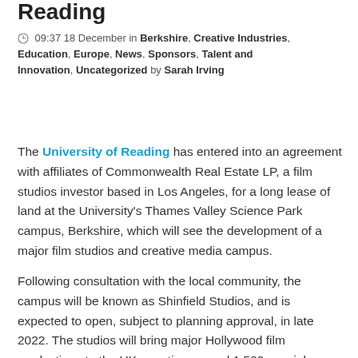Reading
09:37 18 December in Berkshire, Creative Industries, Education, Europe, News, Sponsors, Talent and Innovation, Uncategorized by Sarah Irving
The University of Reading has entered into an agreement with affiliates of Commonwealth Real Estate LP, a film studios investor based in Los Angeles, for a long lease of land at the University's Thames Valley Science Park campus, Berkshire, which will see the development of a major film studios and creative media campus.
Following consultation with the local community, the campus will be known as Shinfield Studios, and is expected to open, subject to planning approval, in late 2022. The studios will bring major Hollywood film productions to the UK, creating around 1,500 new jobs, and supporting up to 1,500 further